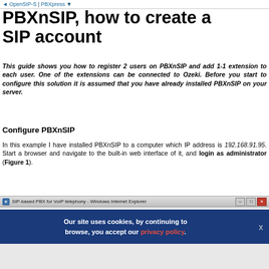◄ OpenSIP-S | PBXpress ▼
PBXnSIP, how to create a SIP account
This guide shows you how to register 2 users on PBXnSIP and add 1-1 extension to each user. One of the extensions can be connected to Ozeki. Before you start to configure this solution it is assumed that you have already installed PBXnSIP on your server.
Configure PBXnSIP
In this example I have installed PBXnSIP to a computer which IP address is 192.168.91.95. Start a browser and navigate to the built-in web interface of it, and login as administrator (Figure 1).
[Figure (screenshot): Windows Internet Explorer window showing SIP-based PBX for VoIP telephony page, with a blue cookie consent banner reading 'Our site uses cookies, by continuing to browse, you accept our privacy policy.' with an X close button]